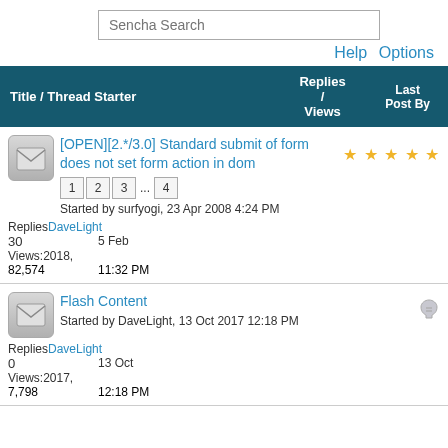[Figure (screenshot): Search bar with placeholder text 'Sencha Search']
Help  Options
| Title / Thread Starter | Replies / Views | Last Post By |
| --- | --- | --- |
| [OPEN][2.*/3.0] Standard submit of form does not set form action in dom
Started by surfyogi, 23 Apr 2008 4:24 PM | 30
Views:
82,574 | DaveLight
5 Feb
2018,
11:32 PM |
| Flash Content
Started by DaveLight, 13 Oct 2017 12:18 PM | 0
Views:
7,798 | DaveLight
13 Oct
2017,
12:18 PM |